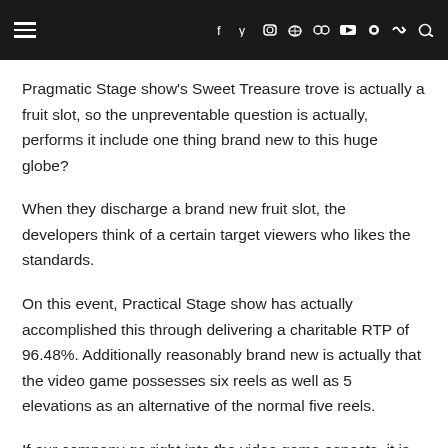≡  f  y  IG  P  flickr  ▶  ●  RSS  🔍
Pragmatic Stage show's Sweet Treasure trove is actually a fruit slot, so the unpreventable question is actually, performs it include one thing brand new to this huge globe?
When they discharge a brand new fruit slot, the developers think of a certain target viewers who likes the standards.
On this event, Practical Stage show has actually accomplished this through delivering a charitable RTP of 96.48%. Additionally reasonably brand new is actually that the video game possesses six reels as well as 5 elevations as an alternative of the normal five reels.
If our company go right into the video game aspects, it is fascinating that there are no wages collections, however the symbols pay anywhere so long as they seem. The minimum bet